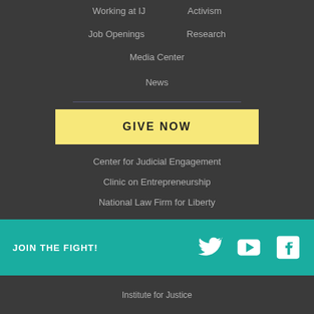Working at IJ
Activism
Job Openings
Research
Media Center
News
GIVE NOW
Center for Judicial Engagement
Clinic on Entrepreneurship
National Law Firm for Liberty
JOIN THE FIGHT!
Institute for Justice